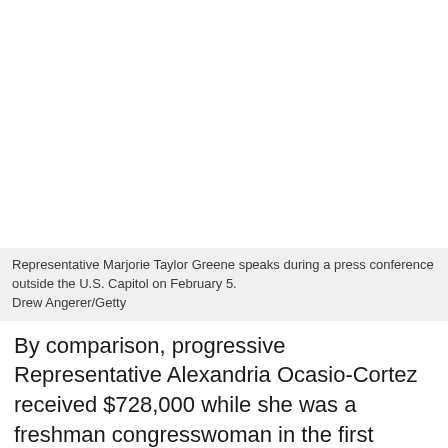[Figure (photo): Photo of Representative Marjorie Taylor Greene speaking during a press conference outside the U.S. Capitol on February 5.]
Representative Marjorie Taylor Greene speaks during a press conference outside the U.S. Capitol on February 5.
Drew Angerer/Getty
By comparison, progressive Representative Alexandria Ocasio-Cortez received $728,000 while she was a freshman congresswoman in the first quarter of 2019, according to Politico. Ocasio-Cortez is one of many House Democrats who have spoken out against Greene